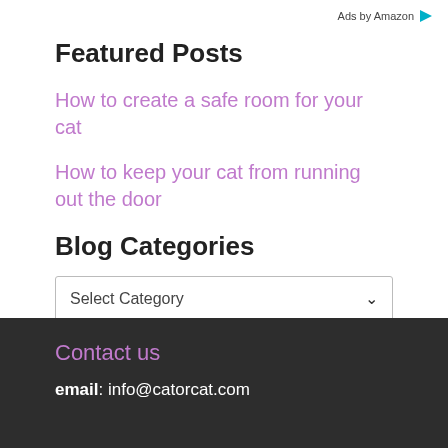Ads by Amazon
Featured Posts
How to create a safe room for your cat
How to keep your cat from running out the door
Blog Categories
Select Category
Contact us
email: info@catorcat.com